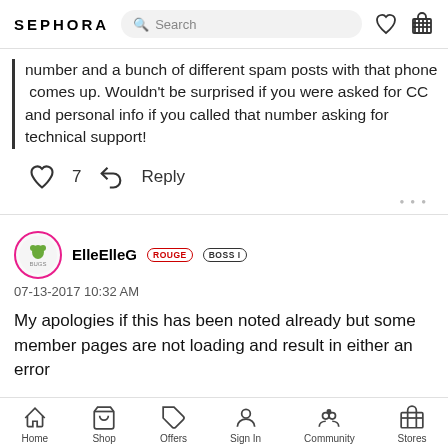SEPHORA  Search
number and a bunch of different spam posts with that phone  comes up. Wouldn't be surprised if you were asked for CC and personal info if you called that number asking for technical support!
7  Reply
ElleElleG  ROUGE  BOSS I
07-13-2017 10:32 AM
My apologies if this has been noted already but some member pages are not loading and result in either an error
Home  Shop  Offers  Sign In  Community  Stores